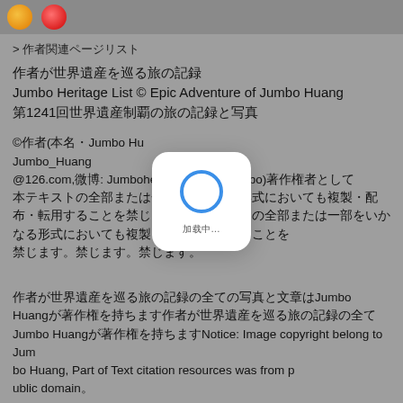[Figure (screenshot): Top bar with orange and red emoji/icon circles on grey background]
> 作者関連ページリスト
作者が世界遺産を巡る旅の記録
Jumbo Heritage List © Epic Adventure of Jumbo Huang
第1241回世界遺産制覇の旅の記録と写真
©作者(本名・Jumbo Huang、メールアドレスJumbo_Huang@126.com、微博: Jumboheart・Huang_Jumbo)は著作権者として、本テキストの全部または一部をいかなる形式においても複製・配布・転用することを禁じます。
作者が世界遺産を巡る旅の記録の全ての写真と文章はJumbo Huangが著作権を持ちますNotice: Image copyright belong to Jumbo Huang, Part of Text citation resources was from public domain。
[Figure (screenshot): White rounded modal overlay with blue circle icon and Chinese label text]